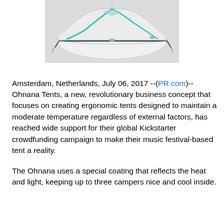[Figure (photo): A white/light gray ergonomic tent with teal/turquoise accent stripes and poles, photographed against a light gray background. The tent appears to be a low-profile festival tent design.]
Amsterdam, Netherlands, July 06, 2017 --(PR.com)-- Ohnana Tents, a new, revolutionary business concept that focuses on creating ergonomic tents designed to maintain a moderate temperature regardless of external factors, has reached wide support for their global Kickstarter crowdfunding campaign to make their music festival-based tent a reality.
The Ohnana uses a special coating that reflects the heat and light, keeping up to three campers nice and cool inside.